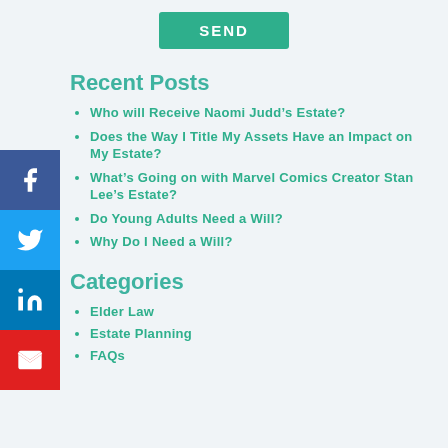[Figure (other): Green SEND button at top center of page]
[Figure (other): Social media sidebar with Facebook, Twitter, LinkedIn, and Email share buttons]
Recent Posts
Who will Receive Naomi Judd’s Estate?
Does the Way I Title My Assets Have an Impact on My Estate?
What’s Going on with Marvel Comics Creator Stan Lee’s Estate?
Do Young Adults Need a Will?
Why Do I Need a Will?
Categories
Elder Law
Estate Planning
FAQs